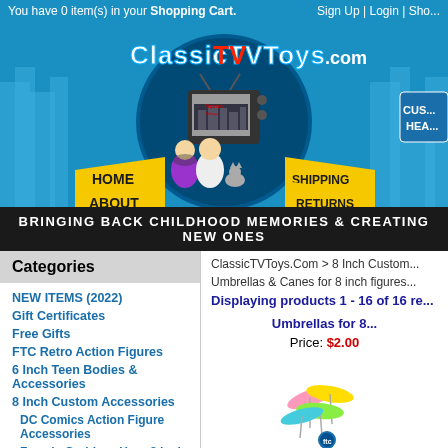You have 0 item(s) in your Shopping Cart.  Sign Up | Login | Sho...
[Figure (screenshot): ClassicTVToys.com logo banner with navigation menu (HOME, ABOUT, CONTACT, SHIPPING, RETURNS, FREE STUFF) on blue background with city skyline and cartoon characters watching TV]
BRINGING BACK CHILDHOOD MEMORIES & CREATING NEW ONES
Categories
NEW ITEMS (2022)
Gift Certificates
Free Gifts
FTC Retro Action Figures
6 Inch Teen Bodies & Accessories
8 Inch Custom Accessories
DC Comics Action Figure Accessories
Female Goddess Hero 8 inch Items
Retro Buses for 8 inch action figures
8 inch Superhero Roto Molded Heads
FTC Superhero Molded Glove Hands &
ClassicTVToys.Com > 8 Inch Custom...
Umbrellas & Canes for 8 inch figures...
Displaying products 1 - 16 of 16 re...
Umbrellas for 8...
Price: $2.00
[Figure (photo): Colorful miniature cocktail umbrellas fanned out in pink, yellow, green, blue colors with a small round badge/logo below]
MORE IN...